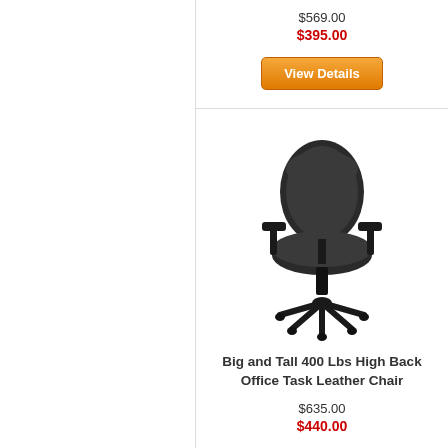$569.00
$395.00
View Details
[Figure (photo): Black leather high-back office task chair with armrests and five-star base with casters]
Big and Tall 400 Lbs High Back Office Task Leather Chair
$635.00
$440.00
View Details